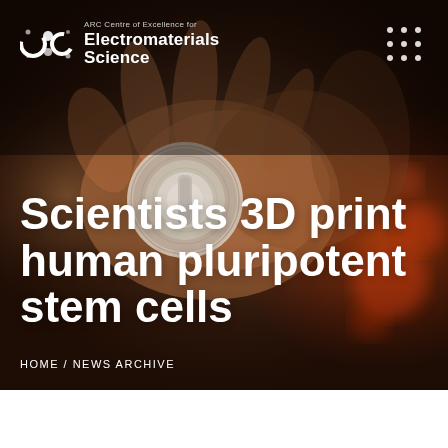[Figure (photo): Hands holding a circular laboratory component (appears to be a lab instrument or sample container), dark reddish-brown moody background with bokeh lighting effects]
ARC Centre of Excellence for Electromaterials Science
Scientists 3D print human pluripotent stem cells
HOME / NEWS ARCHIVE